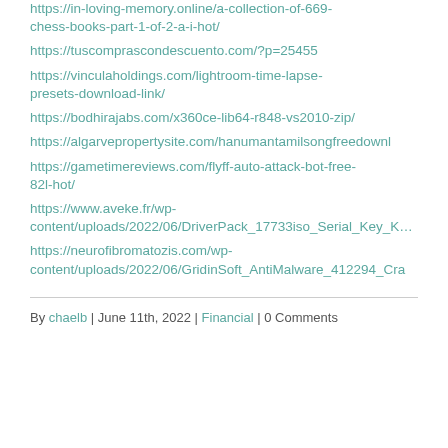https://in-loving-memory.online/a-collection-of-669-chess-books-part-1-of-2-a-i-hot/
https://tuscomprascondescuento.com/?p=25455
https://vinculaholdings.com/lightroom-time-lapse-presets-download-link/
https://bodhirajabs.com/x360ce-lib64-r848-vs2010-zip/
https://algarveproperty site.com/hanumantamilsongfreedownl
https://gametimereviews.com/flyff-auto-attack-bot-free-82l-hot/
https://www.aveke.fr/wp-content/uploads/2022/06/DriverPack_17733iso_Serial_Key_Keyg
https://neurofibromatozis.com/wp-content/uploads/2022/06/GridinSoft_AntiMalware_412294_Cra
By chaelb  |  June 11th, 2022  |  Financial  |  0 Comments